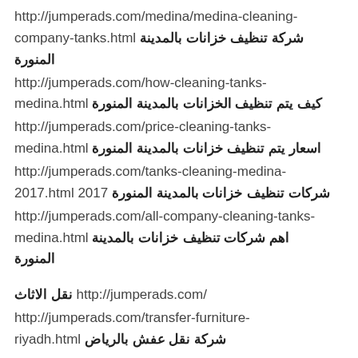http://jumperads.com/medina/medina-cleaning-company-tanks.html شركة تنظيف خزانات بالمدينة المنورة
http://jumperads.com/how-cleaning-tanks-medina.html كيف يتم تنظيف الخزانات بالمدينة المنورة
http://jumperads.com/price-cleaning-tanks-medina.html اسعار يتم تنظيف خزانات بالمدينة المنورة
http://jumperads.com/tanks-cleaning-medina-2017.html 2017 شركات تنظيف خزانات بالمدينة المنورة
http://jumperads.com/all-company-cleaning-tanks-medina.html اهم شركات تنظيف خزانات بالمدينة المنورة
نقل الاثاث http://jumperads.com/
http://jumperads.com/transfer-furniture-riyadh.html شركة نقل عفش بالرياض